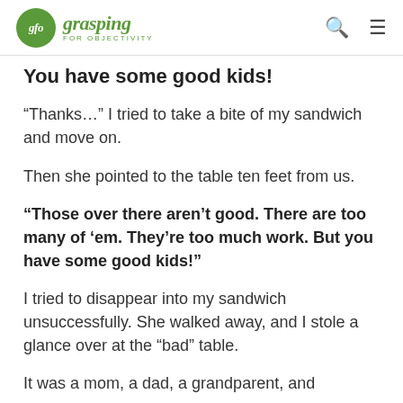gfo grasping FOR OBJECTIVITY
You have some good kids!
“Thanks…” I tried to take a bite of my sandwich and move on.
Then she pointed to the table ten feet from us.
“Those over there aren’t good. There are too many of ‘em. They’re too much work. But you have some good kids!”
I tried to disappear into my sandwich unsuccessfully. She walked away, and I stole a glance over at the “bad” table.
It was a mom, a dad, a grandparent, and